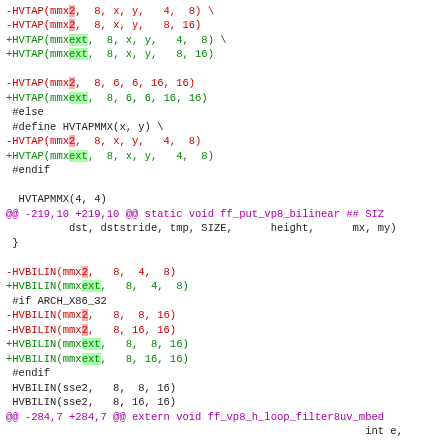Code diff showing changes to HVTAP and HVBILIN macros replacing mmx2 with mmxext in FFmpeg VP8 filter code